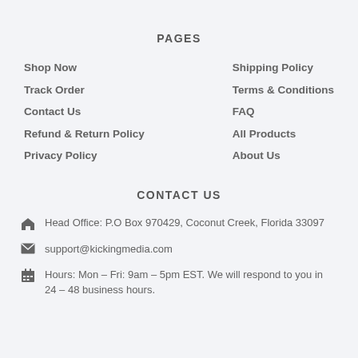PAGES
Shop Now
Track Order
Contact Us
Refund & Return Policy
Privacy Policy
Shipping Policy
Terms & Conditions
FAQ
All Products
About Us
CONTACT US
Head Office: P.O Box 970429, Coconut Creek, Florida 33097
support@kickingmedia.com
Hours: Mon – Fri: 9am – 5pm EST. We will respond to you in 24 – 48 business hours.